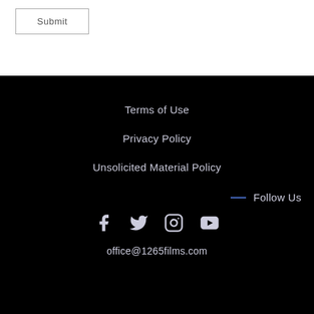Submit
Terms of Use
Privacy Policy
Unsolicited Material Policy
— Follow Us
[Figure (other): Social media icons: Facebook, Twitter, Instagram, YouTube]
office@1265films.com